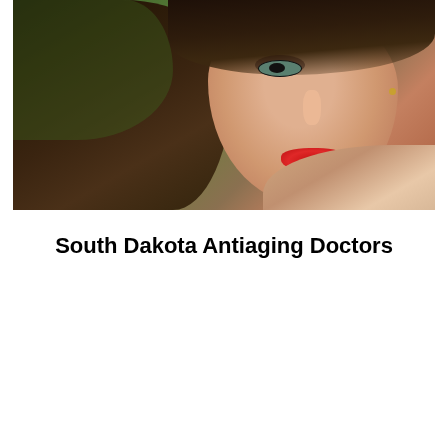[Figure (photo): Close-up portrait photo of a young woman with dark brown hair, green eyes, and bright red lips, leaning forward against a green foliage background.]
South Dakota Antiaging Doctors